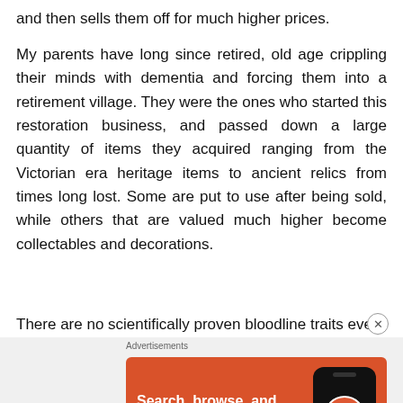and then sells them off for much higher prices.
My parents have long since retired, old age crippling their minds with dementia and forcing them into a retirement village. They were the ones who started this restoration business, and passed down a large quantity of items they acquired ranging from the Victorian era heritage items to ancient relics from times long lost. Some are put to use after being sold, while others that are valued much higher become collectables and decorations.
There are no scientifically proven bloodline traits even
[Figure (screenshot): DuckDuckGo advertisement banner with orange background. Text: 'Search, browse, and email with more privacy. All in One Free App' with DuckDuckGo logo on a phone mockup.]